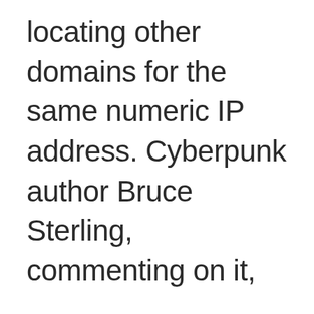locating other domains for the same numeric IP address. Cyberpunk author Bruce Sterling, commenting on it,